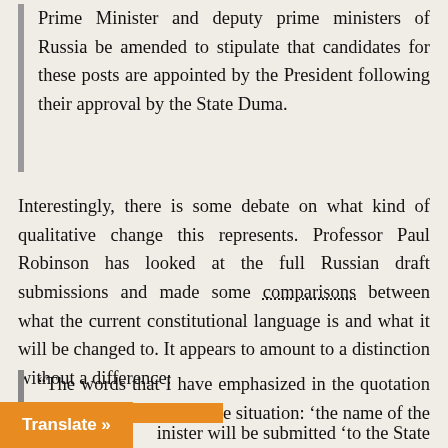Prime Minister and deputy prime ministers of Russia be amended to stipulate that candidates for these posts are appointed by the President following their approval by the State Duma.
Interestingly, there is some debate on what kind of qualitative change this represents. Professor Paul Robinson has looked at the full Russian draft submissions and made some comparisons between what the current constitutional language is and what it will be changed to. It appears to amount to a distinction without a difference:
“The words that I have emphasized in the quotation above clarify the situation: ‘the name of the candidate for Prime Minister will be submitted ‘to the State